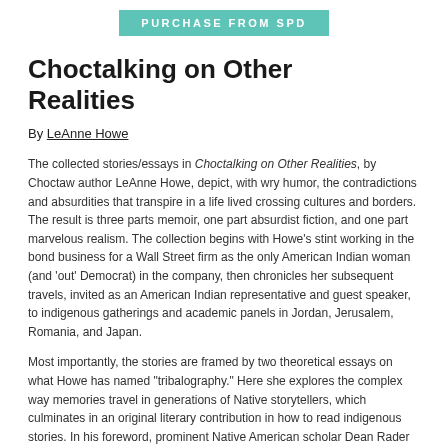PURCHASE FROM SPD
Choctalking on Other Realities
By LeAnne Howe
The collected stories/essays in Choctalking on Other Realities, by Choctaw author LeAnne Howe, depict, with wry humor, the contradictions and absurdities that transpire in a life lived crossing cultures and borders. The result is three parts memoir, one part absurdist fiction, and one part marvelous realism. The collection begins with Howe's stint working in the bond business for a Wall Street firm as the only American Indian woman (and 'out' Democrat) in the company, then chronicles her subsequent travels, invited as an American Indian representative and guest speaker, to indigenous gatherings and academic panels in Jordan, Jerusalem, Romania, and Japan.
Most importantly, the stories are framed by two theoretical essays on what Howe has named "tribalography." Here she explores the complex way memories travel in generations of Native storytellers, which culminates in an original literary contribution in how to read indigenous stories. In his foreword, prominent Native American scholar Dean Rader—